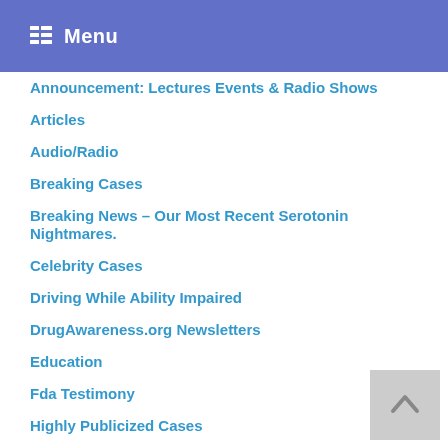Menu
Announcement: Lectures Events & Radio Shows
Articles
Audio/Radio
Breaking Cases
Breaking News – Our Most Recent Serotonin Nightmares.
Celebrity Cases
Driving While Ability Impaired
DrugAwareness.org Newsletters
Education
Fda Testimony
Highly Publicized Cases
ICFDA Investigates
Journal Articles
Legal Cases
Mass Shooting